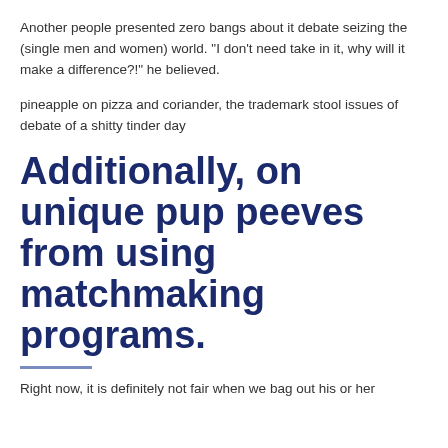Another people presented zero bangs about it debate seizing the (single men and women) world. “I don’t need take in it, why will it make a difference?!” he believed.
pineapple on pizza and coriander, the trademark stool issues of debate of a shitty tinder day
Additionally, on unique pup peeves from using matchmaking programs.
Right now, it is definitely not fair when we bag out his or her